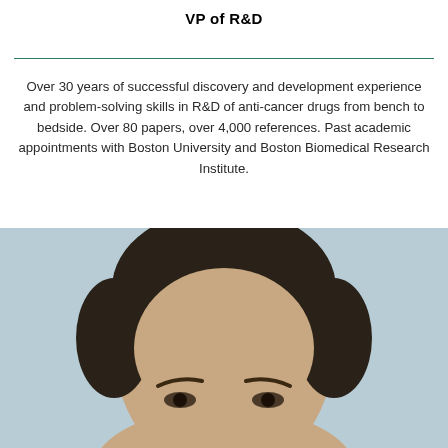VP of R&D
Over 30 years of successful discovery and development experience and problem-solving skills in R&D of anti-cancer drugs from bench to bedside. Over 80 papers, over 4,000 references. Past academic appointments with Boston University and Boston Biomedical Research Institute.
[Figure (photo): Headshot photograph of a man with dark hair, cropped to show head and top of forehead, against a light blue-grey background.]